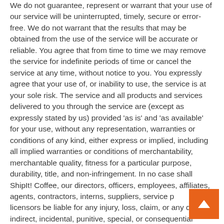We do not guarantee, represent or warrant that your use of our service will be uninterrupted, timely, secure or error-free. We do not warrant that the results that may be obtained from the use of the service will be accurate or reliable. You agree that from time to time we may remove the service for indefinite periods of time or cancel the service at any time, without notice to you. You expressly agree that your use of, or inability to use, the service is at your sole risk. The service and all products and services delivered to you through the service are (except as expressly stated by us) provided 'as is' and 'as available' for your use, without any representation, warranties or conditions of any kind, either express or implied, including all implied warranties or conditions of merchantability, merchantable quality, fitness for a particular purpose, durability, title, and non-infringement. In no case shall ShipIt! Coffee, our directors, officers, employees, affiliates, agents, contractors, interns, suppliers, service providers or licensors be liable for any injury, loss, claim, or any direct, indirect, incidental, punitive, special, or consequential damages of any kind, including, without limitation lost profits, lost revenue, lost